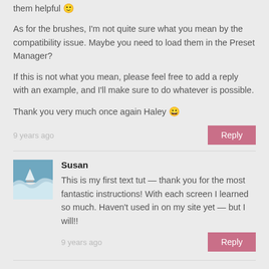them helpful 🙂
As for the brushes, I'm not quite sure what you mean by the compatibility issue. Maybe you need to load them in the Preset Manager?
If this is not what you mean, please feel free to add a reply with an example, and I'll make sure to do whatever is possible.
Thank you very much once again Haley 😀
9 years ago
Reply
Susan
This is my first text tut — thank you for the most fantastic instructions! With each screen I learned so much. Haven't used in on my site yet — but I will!!
9 years ago
Reply
textuts